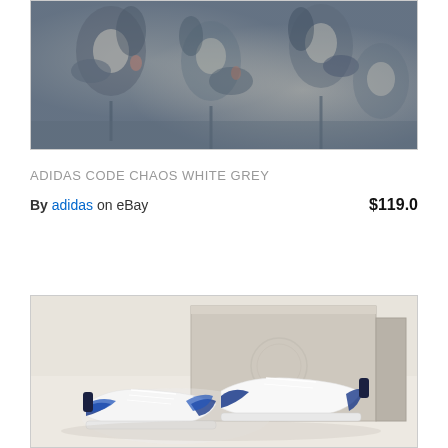[Figure (photo): Partial view of a textile or fabric with a dark blue/grey floral pattern, cropped at the top]
ADIDAS CODE CHAOS WHITE GREY
By adidas on eBay $119.0
[Figure (photo): Photo of white and blue Adidas Code Chaos golf shoes with navy/blue wave pattern detail, displayed in front of a shoe box on a light beige surface]